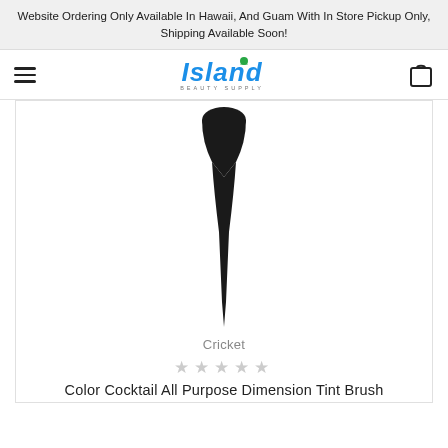Website Ordering Only Available In Hawaii, And Guam With In Store Pickup Only, Shipping Available Soon!
[Figure (logo): Island Beauty Supply logo with blue italic text and green leaf accent, with subtitle BEAUTY SUPPLY]
[Figure (photo): Black hair tint brush with wide flat head tapering to a long pointed handle, on white background]
Cricket
[Figure (other): Five empty/grey star rating icons]
Color Cocktail All Purpose Dimension Tint Brush